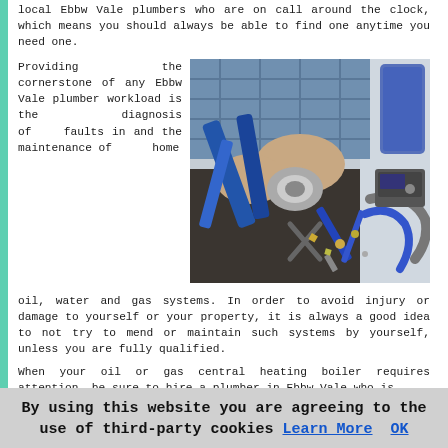local Ebbw Vale plumbers who are on call around the clock, which means you should always be able to find one anytime you need one.
Providing the cornerstone of any Ebbw Vale plumber workload is the diagnosis of faults in and the maintenance of home oil, water and gas systems. In order to avoid injury or damage to yourself or your property, it is always a good idea to not try to mend or maintain such systems by yourself, unless you are fully qualified.
[Figure (photo): A person working with plumbing tools including pliers and various fittings on a workbench]
When your oil or gas central heating boiler requires attention, be sure to hire a plumber in Ebbw Vale who is
By using this website you are agreeing to the use of third-party cookies Learn More OK